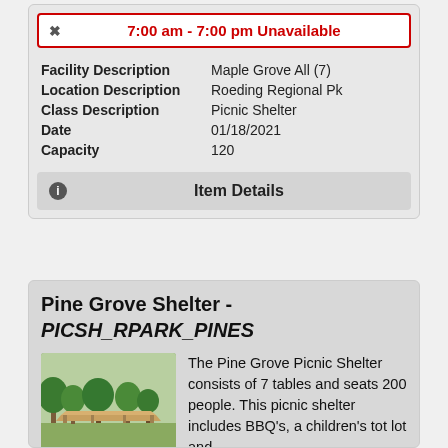7:00 am - 7:00 pm Unavailable
| Field | Value |
| --- | --- |
| Facility Description | Maple Grove All (7) |
| Location Description | Roeding Regional Pk |
| Class Description | Picnic Shelter |
| Date | 01/18/2021 |
| Capacity | 120 |
Item Details
Pine Grove Shelter - PICSH_RPARK_PINES
[Figure (photo): Photo of Pine Grove Picnic Shelter showing trees and a covered shelter structure]
The Pine Grove Picnic Shelter consists of 7 tables and seats 200 people. This picnic shelter includes BBQ's, a children's tot lot and